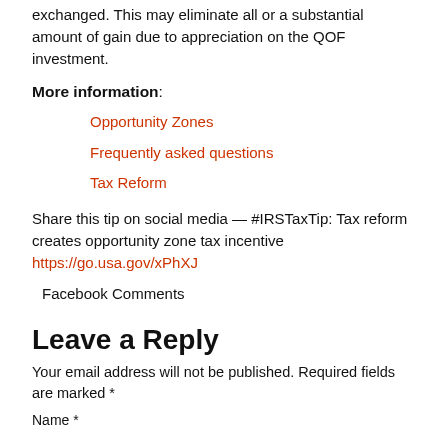exchanged. This may eliminate all or a substantial amount of gain due to appreciation on the QOF investment.
More information:
Opportunity Zones
Frequently asked questions
Tax Reform
Share this tip on social media — #IRSTaxTip: Tax reform creates opportunity zone tax incentive https://go.usa.gov/xPhXJ
Facebook Comments
Leave a Reply
Your email address will not be published. Required fields are marked *
Name *